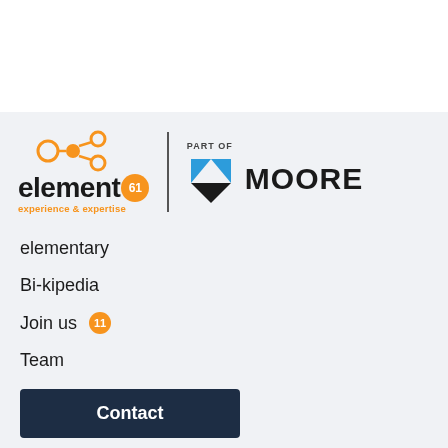[Figure (logo): element61 logo with orange network icon and '61' badge, tagline 'experience & expertise', and 'PART OF MOORE' logo with blue/black triangular M icon]
elementary
Bi-kipedia
Join us 11
Team
Contact